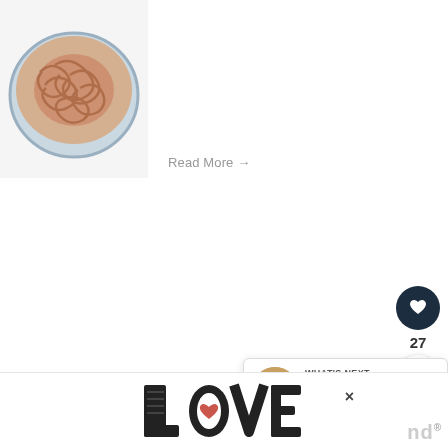[Figure (photo): Bowl of spaghetti pasta with meat sauce, viewed from above, in a round bowl on a white background]
Read More →
[Figure (other): UI like button (heart icon) in dark navy circle, count 27, and share button]
[Figure (other): WHAT'S NEXT → Korean Ground Beef - next article widget with thumbnail]
YIELD: 1 POUND COOKED GROUND BEE...
[Figure (other): LOVE advertisement banner with decorative illustrated lettering]
×
nd